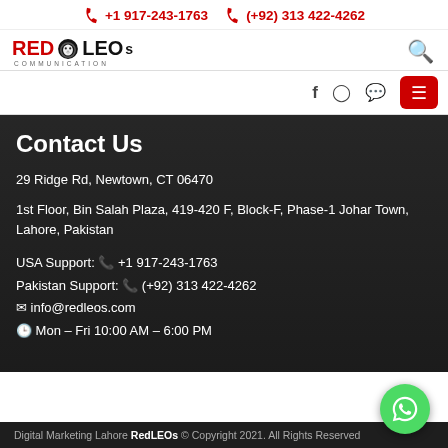+1 917-243-1763   (+92) 313 422-4262
[Figure (logo): RedLEOs Communication logo with lion head icon]
Contact Us
29 Ridge Rd, Newtown, CT 06470
1st Floor, Bin Salah Plaza, 419-420 F, Block-F, Phase-1 Johar Town, Lahore, Pakistan
USA Support: +1 917-243-1763
Pakistan Support: (+92) 313 422-4262
info@redleos.com
Mon – Fri 10:00 AM – 6:00 PM
Digital Marketing Lahore RedLEOs © Copyright 2021. All Rights Reserved